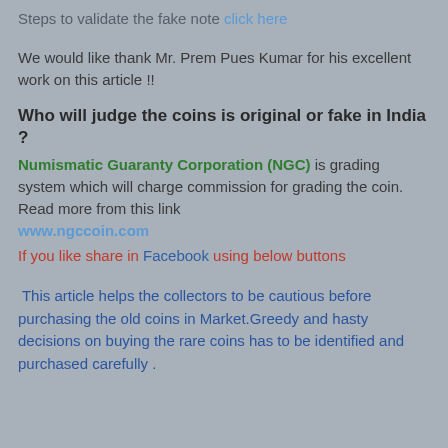Steps to validate the fake note click here
We would like thank Mr. Prem Pues Kumar for his excellent work on this article !!
Who will judge the coins is original or fake in India ?
Numismatic Guaranty Corporation (NGC) is grading system which will charge commission for grading the coin.  Read more from this link www.ngccoin.com
If you like share in Facebook using below buttons
This article helps the collectors to be cautious before purchasing the old coins in Market.Greedy and hasty decisions on buying the rare coins has to be identified and purchased carefully .